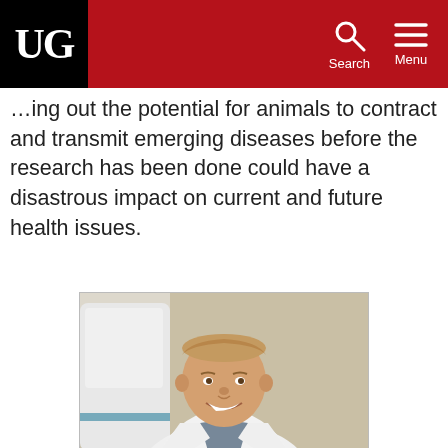UG | Search | Menu
...ing out the potential for animals to contract and transmit emerging diseases before the research has been done could have a disastrous impact on current and future health issues.
[Figure (photo): Portrait of a male doctor/researcher wearing a white lab coat and grey shirt, smiling, with medical equipment visible in the background.]